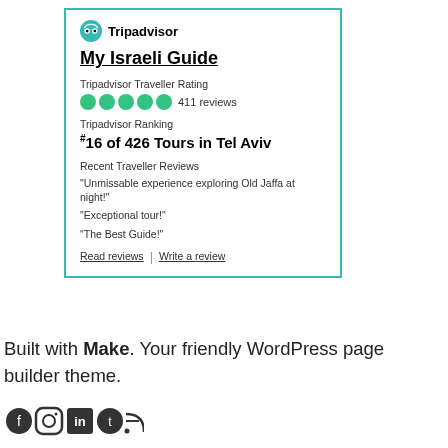[Figure (screenshot): Tripadvisor widget showing My Israeli Guide rating and reviews]
Built with Make. Your friendly WordPress page builder theme.
[Figure (other): Social media icons row at bottom]